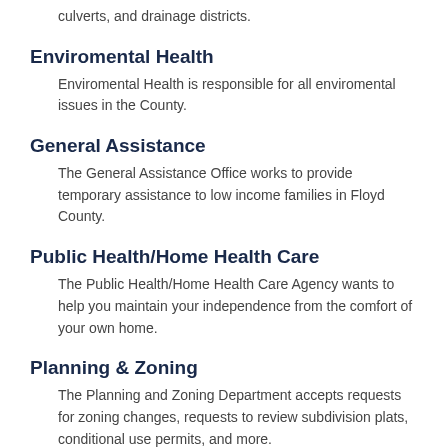culverts, and drainage districts.
Enviromental Health
Enviromental Health is responsible for all enviromental issues in the County.
General Assistance
The General Assistance Office works to provide temporary assistance to low income families in Floyd County.
Public Health/Home Health Care
The Public Health/Home Health Care Agency wants to help you maintain your independence from the comfort of your own home.
Planning & Zoning
The Planning and Zoning Department accepts requests for zoning changes, requests to review subdivision plats, conditional use permits, and more.